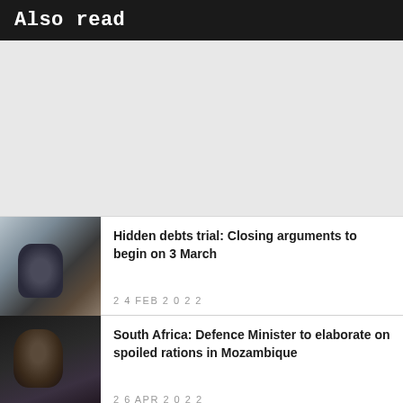Also read
[Figure (photo): Gray placeholder area for image content]
[Figure (photo): Blurred courtroom photo of a person wearing a blue mask, seated at a desk]
Hidden debts trial: Closing arguments to begin on 3 March
24 FEB 2022
[Figure (photo): Photo of a person in black attire seated at a parliamentary or official setting]
South Africa: Defence Minister to elaborate on spoiled rations in Mozambique
26 APR 2022